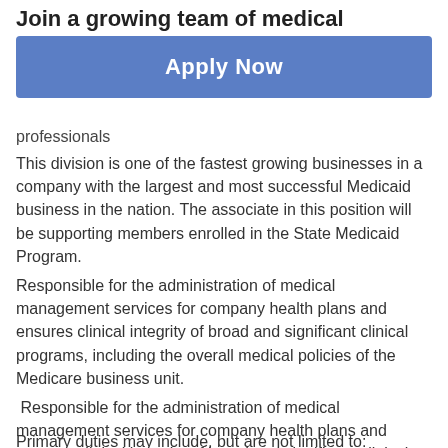Join a growing team of medical management
[Figure (other): Apply Now button - blue rectangular button with white bold text]
professionals
This division is one of the fastest growing businesses in a company with the largest and most successful Medicaid business in the nation. The associate in this position will be supporting members enrolled in the State Medicaid Program.
Responsible for the administration of medical management services for company health plans and ensures clinical integrity of broad and significant clinical programs, including the overall medical policies of the Medicare business unit.
Responsible for the administration of medical management services for company health plans and ensures clinical integrity of broad and significant clinical programs, including the overall medical policies of the Medicare business unit.
Primary duties may include, but are not limited to: